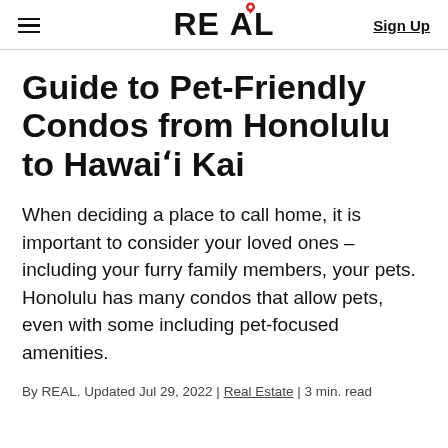REAL | Sign Up
Guide to Pet-Friendly Condos from Honolulu to Hawaiʻi Kai
When deciding a place to call home, it is important to consider your loved ones – including your furry family members, your pets. Honolulu has many condos that allow pets, even with some including pet-focused amenities.
By REAL. Updated Jul 29, 2022 | Real Estate | 3 min. read